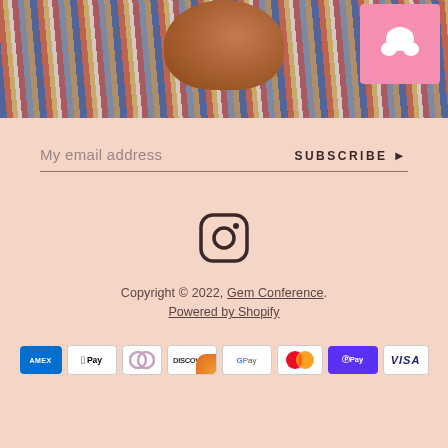[Figure (photo): Top portion of a fashion photo showing a person wearing a striped outfit carrying a brown bag, with a pink sign visible in the background]
My email address
SUBSCRIBE ▶
[Figure (illustration): Instagram logo icon]
Copyright © 2022, Gem Conference.
Powered by Shopify
[Figure (infographic): Payment method icons: American Express, Apple Pay, Diners Club, Discover, Google Pay, Mastercard, Shop Pay, Visa]